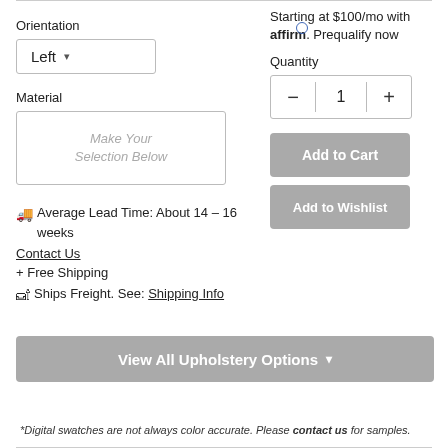Starting at $100/mo with affirm. Prequalify now
Orientation
Left ▾
Material
Make Your Selection Below
🚚 Average Lead Time: About 14 - 16 weeks
Contact Us
+ Free Shipping
🛋 Ships Freight. See: Shipping Info
Quantity
− 1 +
Add to Cart
Add to Wishlist
View All Upholstery Options ▾
*Digital swatches are not always color accurate. Please contact us for samples.